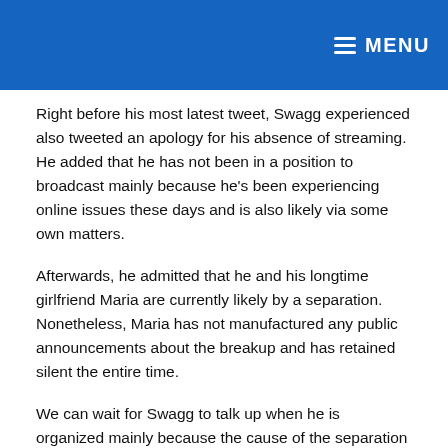MENU
Right before his most latest tweet, Swagg experienced also tweeted an apology for his absence of streaming. He added that he has not been in a position to broadcast mainly because he's been experiencing online issues these days and is also likely via some own matters.
Afterwards, he admitted that he and his longtime girlfriend Maria are currently likely by a separation. Nonetheless, Maria has not manufactured any public announcements about the breakup and has retained silent the entire time.
We can wait for Swagg to talk up when he is organized mainly because the cause of the separation is still a mystery at this time.
Timeline of the Connection Concerning Faze Swagg and Maria
Maria Russell, a certified eyelash technician, was Faze's girlfriend. In accordance to her Instagram, she now seems to be 22 years aged. The YouTuber routinely recorded game titles he played with his companion and uploaded them in his films.